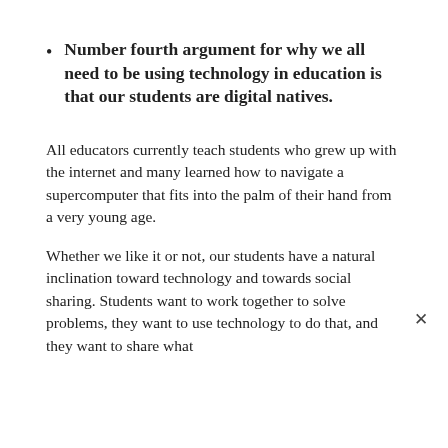Number fourth argument for why we all need to be using technology in education is that our students are digital natives.
All educators currently teach students who grew up with the internet and many learned how to navigate a supercomputer that fits into the palm of their hand from a very young age.
Whether we like it or not, our students have a natural inclination toward technology and towards social sharing. Students want to work together to solve problems, they want to use technology to do that, and they want to share what